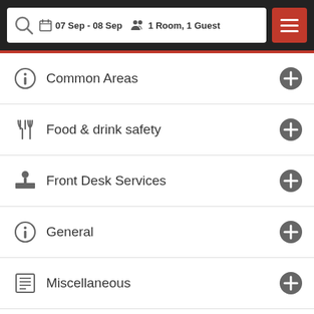07 Sep - 08 Sep | 1 Room, 1 Guest
Common Areas
Food & drink safety
Front Desk Services
General
Miscellaneous
Physical distancing
Search Rooms